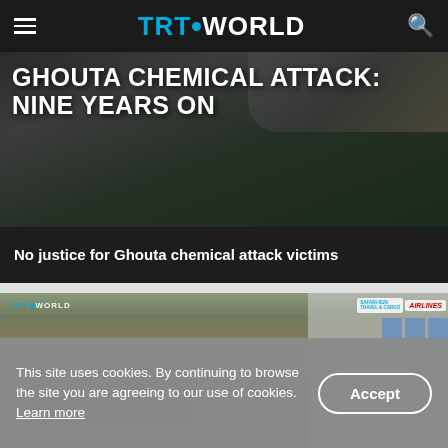TRT WORLD
[Figure (photo): TRT World news segment header image showing text overlay: 'GHOUTA CHEMICAL ATTACK: NINE YEARS ON' in white bold text on a dark background]
No justice for Ghouta chemical attack victims
[Figure (photo): TRT World photo of armed soldiers riding in the back of a pickup truck in front of a building with 'SAFARI-SUN TRAVEL & CARGO' and 'AIRLINES' signs visible]
This site uses cookies. By continuing to browse the site you are agreeing to our use of cookies. Learn more